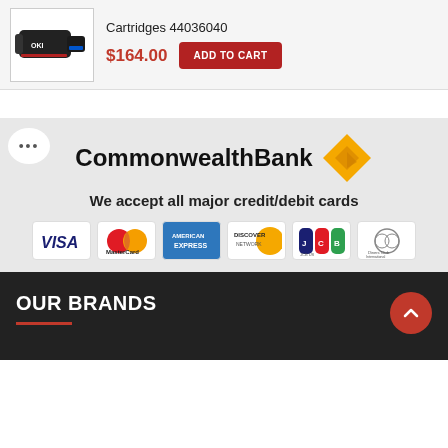[Figure (photo): Product listing card showing OKI toner cartridge image with product number 44036040, price $164.00 and Add to Cart button]
Cartridges 44036040
$164.00
[Figure (logo): Commonwealth Bank logo with bold black text and yellow diamond shape]
We accept all major credit/debit cards
[Figure (infographic): Payment card logos: Visa, MasterCard, American Express, Discover Network, JCB, Diners Club International]
OUR BRANDS